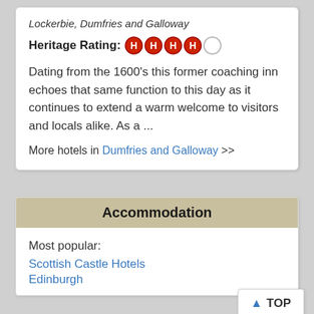Lockerbie, Dumfries and Galloway
Heritage Rating: HHHH (4 out of 5)
Dating from the 1600's this former coaching inn echoes that same function to this day as it continues to extend a warm welcome to visitors and locals alike. As a ...
More hotels in Dumfries and Galloway >>
Accommodation
Most popular:
Scottish Castle Hotels
Edinburgh